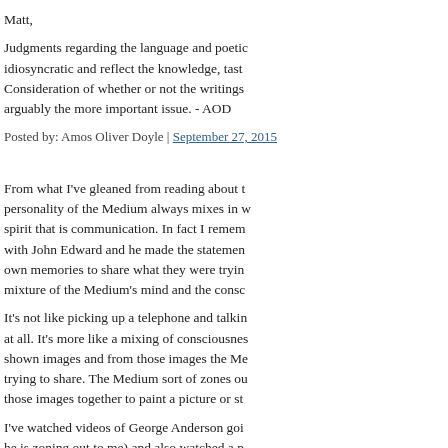Matt,
Judgments regarding the language and poetic idiosyncratic and reflect the knowledge, taste Consideration of whether or not the writings arguably the more important issue. - AOD
Posted by: Amos Oliver Doyle | September 27, 2015
From what I've gleaned from reading about t personality of the Medium always mixes in w spirit that is communication. In fact I remem with John Edward and he made the statemen own memories to share what they were tryin mixture of the Medium's mind and the consc
It's not like picking up a telephone and talkin at all. It's more like a mixing of consciousnes shown images and from those images the Me trying to share. The Medium sort of zones ou those images together to paint a picture or st
I've watched videos of George Anderson goi he is zoning out to me) and also watched a p one or the other but a mixture of the two. Th